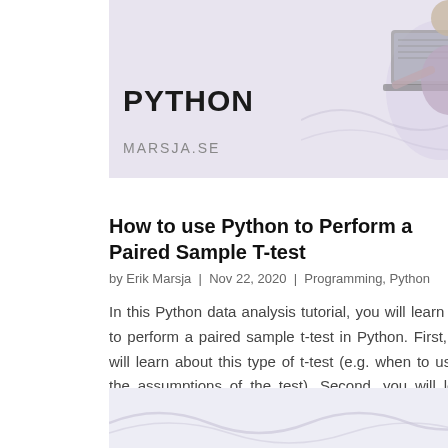[Figure (illustration): Header banner image for a Python tutorial on marsja.se showing bold PYTHON text and the marsja.se branding with an illustration of a person at a laptop on a light purple/lavender background]
How to use Python to Perform a Paired Sample T-test
by Erik Marsja | Nov 22, 2020 | Programming, Python
In this Python data analysis tutorial, you will learn how to perform a paired sample t-test in Python. First, you will learn about this type of t-test (e.g. when to use it, the assumptions of the test). Second, you will learn how to check whether your data follow the...
[Figure (illustration): Bottom banner image showing Python logo (blue and yellow snake logo) on a light lavender/gray background]